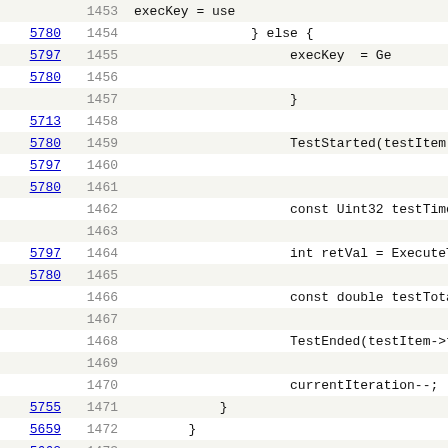| ref | line | code |
| --- | --- | --- |
|  | 1453 | execKey = use |
| 5780 | 1454 | } else { |
| 5797 | 1455 | execKey  = Ge |
| 5780 | 1456 |  |
|  | 1457 | } |
| 5713 | 1458 |  |
| 5780 | 1459 | TestStarted(testItem- |
| 5797 | 1460 |  |
| 5780 | 1461 |  |
|  | 1462 | const Uint32 testTime |
|  | 1463 |  |
| 5797 | 1464 | int retVal = ExecuteT |
| 5780 | 1465 |  |
|  | 1466 | const double testTota |
|  | 1467 |  |
|  | 1468 | TestEnded(testItem->t |
|  | 1469 |  |
|  | 1470 | currentIteration--; |
| 5755 | 1471 | } |
| 5659 | 1472 | } |
| 5662 | 1473 |  |
| 5715 | 1474 | if(currentSuiteName) { |
| 5716 | 1475 | SuiteEnded(testPassCount, |